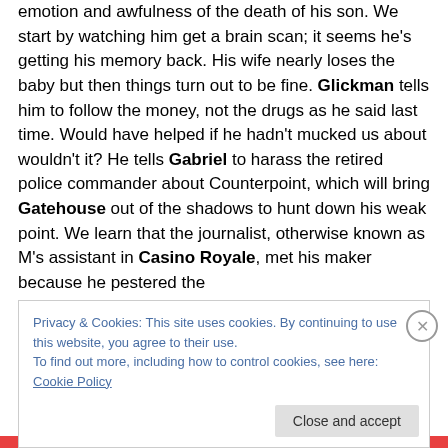emotion and awfulness of the death of his son. We start by watching him get a brain scan; it seems he's getting his memory back. His wife nearly loses the baby but then things turn out to be fine. Glickman tells him to follow the money, not the drugs as he said last time. Would have helped if he hadn't mucked us about wouldn't it? He tells Gabriel to harass the retired police commander about Counterpoint, which will bring Gatehouse out of the shadows to hunt down his weak point. We learn that the journalist, otherwise known as M's assistant in Casino Royale, met his maker because he pestered the
Privacy & Cookies: This site uses cookies. By continuing to use this website, you agree to their use.
To find out more, including how to control cookies, see here: Cookie Policy